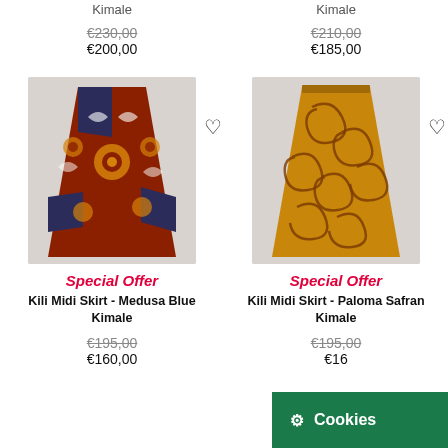Kimale
Kimale
€230,00 (strikethrough) €200,00
€210,00 (strikethrough) €185,00
[Figure (photo): Red/blue patterned midi skirt (Medusa Blue)]
[Figure (photo): Gold/brown patterned midi skirt (Paloma Safran)]
Special Offer
Special Offer
Kili Midi Skirt - Medusa Blue
Kimale
Kili Midi Skirt - Paloma Safran
Kimale
€195,00 (strikethrough) €160,00
€195,00 (strikethrough) €16...
Cookies